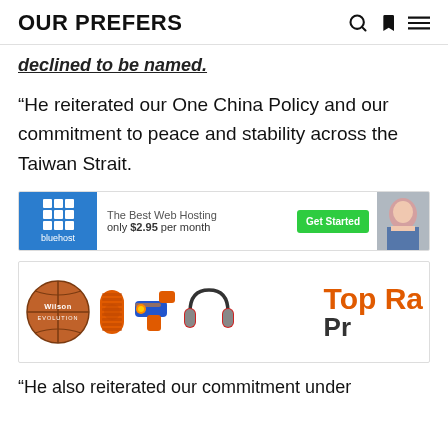OUR PREFERS
declined to be named.
“He reiterated our One China Policy and our commitment to peace and stability across the Taiwan Strait.
[Figure (other): Bluehost advertisement banner: blue background with grid icon and 'bluehost' text, 'The Best Web Hosting only $2.95 per month', green 'Get Started' button, woman photo on right]
[Figure (other): Advertisement banner with Wilson basketball, orange speaker, Nerf gun, red headphones, and text 'Top Ra... Pr...']
“He also reiterated our commitment under